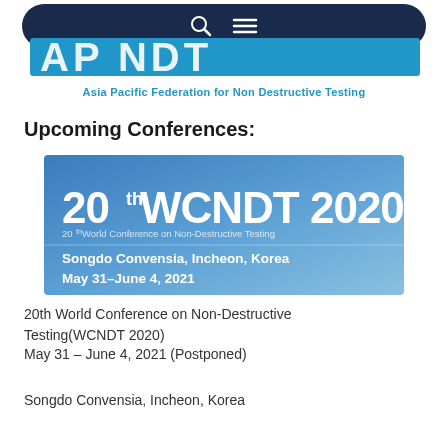[Figure (logo): APFNDT logo with navigation bar overlay: dark navy rounded pill bar with search and hamburger icons, below it partial blue block letters 'AP NDT' and subtitle 'Asia Pacific Federation for Non Destructive Testing' in blue bold text]
Upcoming Conferences:
[Figure (infographic): 20th WCNDT 2020 conference banner with blue gradient background. Large white bold text '20th WCNDT 2020', below in lighter text '20th World Conference on Non-Destructive Testing', then bold white 'Songdo Convensia, Incheon, Korea' and 'May 31–June 4, 2021']
20th World Conference on Non-Destructive Testing(WCNDT 2020)
May 31 – June 4, 2021 (Postponed)
Songdo Convensia, Incheon, Korea